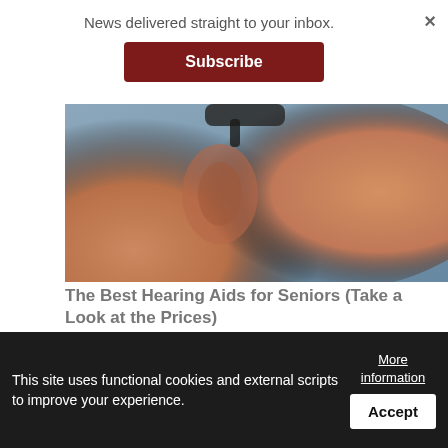News delivered straight to your inbox.
Subscribe
[Figure (photo): Close-up photo of a person's ear with a hearing aid device, skin tones against a blue-grey background]
The Best Hearing Aids for Seniors (Take a Look at the Prices)
Hearing Aids | Search Ads
Search Now
Saipan Tribune Comment Policy
This site uses functional cookies and external scripts to improve your experience.
More information
Accept